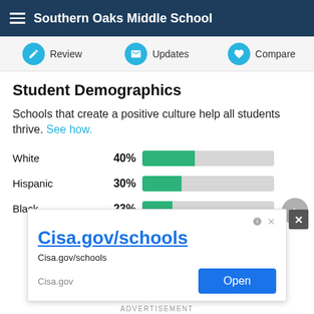Southern Oaks Middle School
Review   Updates   Compare
Student Demographics
Schools that create a positive culture help all students thrive. See how.
[Figure (bar-chart): Student Demographics]
[Figure (screenshot): Advertisement banner for Cisa.gov/schools with Open button]